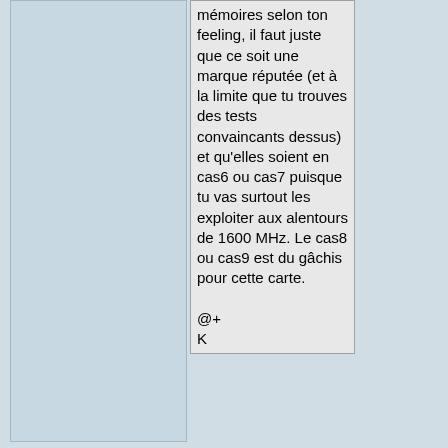mémoires selon ton feeling, il faut juste que ce soit une marque réputée (et à la limite que tu trouves des tests convaincants dessus) et qu'elles soient en cas6 ou cas7 puisque tu vas surtout les exploiter aux alentours de 1600 MHz. Le cas8 ou cas9 est du gâchis pour cette carte.

@+
K